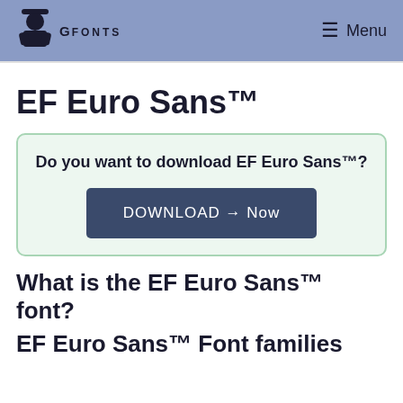GFonts  Menu
EF Euro Sans™
Do you want to download EF Euro Sans™?
DOWNLOAD → Now
What is the EF Euro Sans™ font?
EF Euro Sans™ Font families